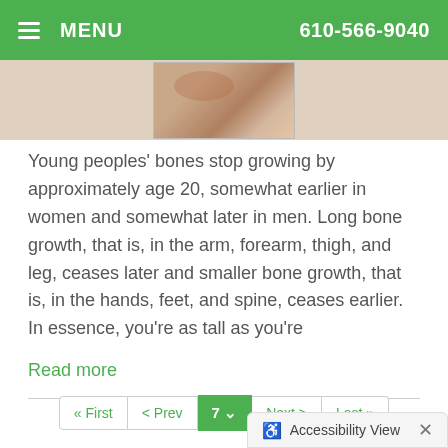MENU  610-566-9040
[Figure (photo): Partial photo of a person, cropped at the top of the page]
Young peoples' bones stop growing by approximately age 20, somewhat earlier in women and somewhat later in men. Long bone growth, that is, in the arm, forearm, thigh, and leg, ceases later and smaller bone growth, that is, in the hands, feet, and spine, ceases earlier. In essence, you're as tall as you're
Read more
« First  < Prev  7  Next >  Last »
Accessibility View  ×